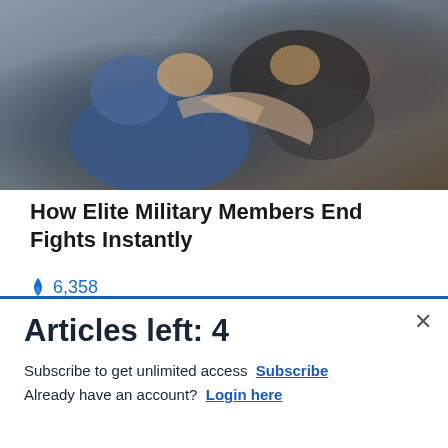[Figure (photo): Two men grappling/fighting, one in blue shirt being held by another in dark shirt, close-up action shot]
How Elite Military Members End Fights Instantly
🔥 6,358
[Figure (photo): Background photo partially visible behind advertisement overlay]
[Figure (advertisement): Commissary Click2Go advertisement banner with green logo and Commissary circular badge]
Articles left: 4
Subscribe to get unlimited access  Subscribe
Already have an account?  Login here